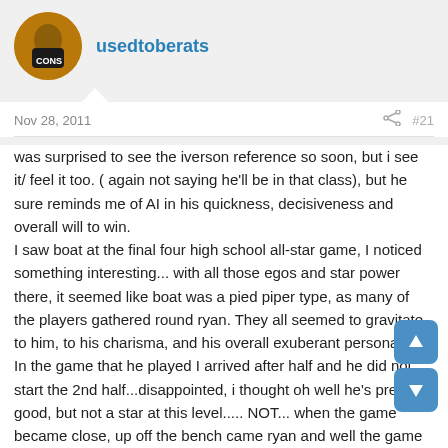usedtoberats
Nov 28, 2011   #21
was surprised to see the iverson reference so soon, but i see it/ feel it too. ( again not saying he'll be in that class), but he sure reminds me of AI in his quickness, decisiveness and overall will to win.
I saw boat at the final four high school all-star game, I noticed something interesting... with all those egos and star power there, it seemed like boat was a pied piper type, as many of the players gathered round ryan. They all seemed to gravitate to him, to his charisma, and his overall exuberant personality.
In the game that he played I arrived after half and he did not start the 2nd half...disappointed, i thought oh well he's pretty good, but not a star at this level..... NOT... when the game became close, up off the bench came ryan and well the game got back in control. He pushed the ball, directed the offense, hit